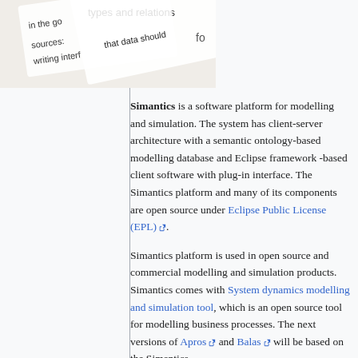[Figure (photo): Partial image of a document or diagram with angled text fragments visible, showing phrases like 'in the go', 'sources:', 'types and relations', 'that data should', 'writing interf', on a white/grey puzzle-piece style background.]
Simantics is a software platform for modelling and simulation. The system has client-server architecture with a semantic ontology-based modelling database and Eclipse framework -based client software with plug-in interface. The Simantics platform and many of its components are open source under Eclipse Public License (EPL).
Simantics platform is used in open source and commercial modelling and simulation products. Simantics comes with System dynamics modelling and simulation tool, which is an open source tool for modelling business processes. The next versions of Apros and Balas will be based on the Simantics